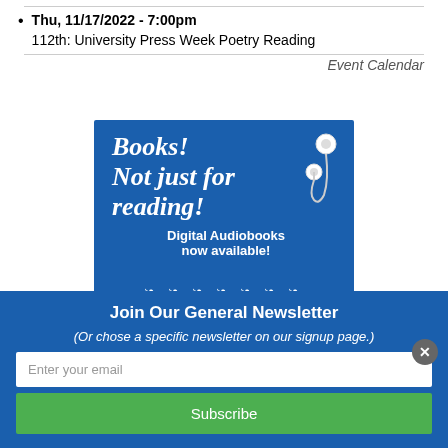Thu, 11/17/2022 - 7:00pm
112th: University Press Week Poetry Reading
Event Calendar
[Figure (illustration): Blue banner advertisement for digital audiobooks with white italic script text reading 'Books! Not just for reading!' and bold text 'Digital Audiobooks now available!' with earbuds illustration and decorative floral bottom border.]
Join Our General Newsletter
(Or chose a specific newsletter on our signup page.)
Enter your email
Subscribe